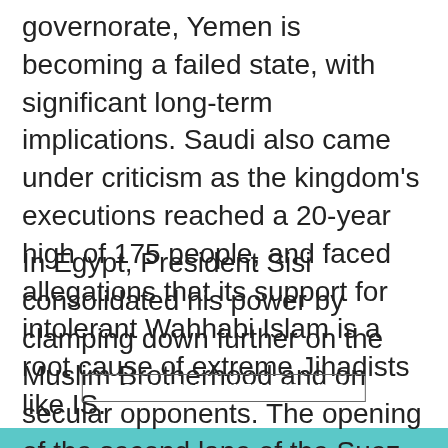governorate, Yemen is becoming a failed state, with significant long-term implications. Saudi also came under criticism as the kingdom's executions reached a 20-year high of 175 people, and faced allegations that its support for intolerant Wahhabi Islam is a root cause of extreme Jihadists like IS.
We use cookies to give you the best possible and improve your experience. We'd also like to set optional analytics cookies to help us see how people cookies unless you choose to accept them. Using this tool will set a cookie on your device to remember your preferences. Find out more, or learn about how
In Egypt, President Sisi consolidated his power by clamping down further on the Muslim Brotherhood and on secular opponents. The opening of the second lane of the Suez Canal, a major prestige project, aimed to increase income and national solidarity. However, the destruction of the Russian passenger plane returning from the Sharm El Sheikh holiday resort threatens disaster for the country's vital holiday economy.
BLOCK NON-ESSENTIAL COOKIES